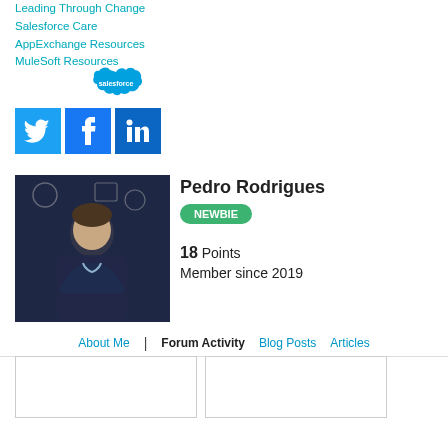Leading Through Change
Salesforce Care
AppExchange Resources
MuleSoft Resources
[Figure (logo): Salesforce cloud logo in teal/blue]
[Figure (logo): Social media icons: Twitter (blue bird), Facebook (f), LinkedIn (in)]
[Figure (photo): Profile photo of Pedro Rodrigues, a man in a dark sweater standing against a chalkboard background with business icons]
Pedro Rodrigues
NEWBIE
18 Points
Member since 2019
About Me | Forum Activity Blog Posts Articles